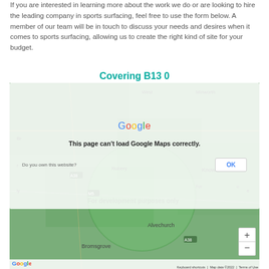If you are interested in learning more about the work we do or are looking to hire the leading company in sports surfacing, feel free to use the form below. A member of our team will be in touch to discuss your needs and desires when it comes to sports surfacing, allowing us to create the right kind of site for your budget.
Covering B13 0
[Figure (map): Google Maps embed showing area around B13 0 (Birmingham, UK region including Rubery, Bromsgrove, Alvechurch, Knowle). Map shows a Google error dialog: 'This page can't load Google Maps correctly.' with a 'Do you own this website?' prompt and OK button. Bottom bar shows 'Keyboard shortcuts | Map data ©2022 | Terms of Use'. Zoom controls visible on right side. 'For development purposes only' watermark visible on map.]